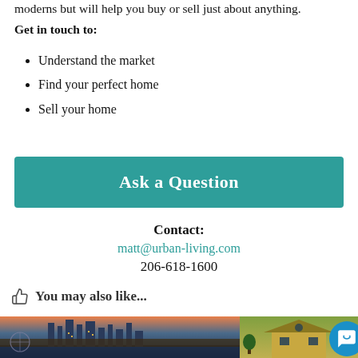moderns but will help you buy or sell just about anything.
Get in touch to:
Understand the market
Find your perfect home
Sell your home
Ask a Question
Contact:
matt@urban-living.com
206-618-1600
You may also like...
[Figure (photo): Cityscape photo showing Seattle skyline at dusk with city lights]
[Figure (photo): Photo of a yellow/green house exterior with a circular chat support button overlay]